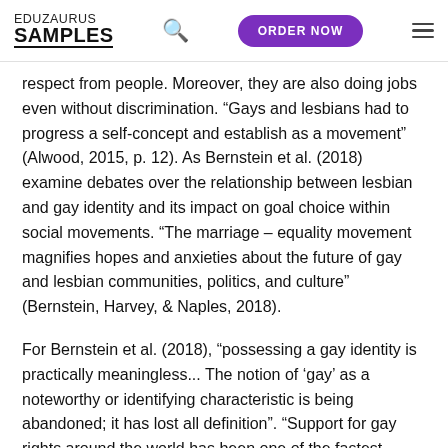EDUZAURUS SAMPLES
respect from people. Moreover, they are also doing jobs even without discrimination. "Gays and lesbians had to progress a self-concept and establish as a movement" (Alwood, 2015, p. 12). As Bernstein et al. (2018) examine debates over the relationship between lesbian and gay identity and its impact on goal choice within social movements. "The marriage – equality movement magnifies hopes and anxieties about the future of gay and lesbian communities, politics, and culture" (Bernstein, Harvey, & Naples, 2018).
For Bernstein et al. (2018), "possessing a gay identity is practically meaningless... The notion of 'gay' as a noteworthy or identifying characteristic is being abandoned; it has lost all definition". "Support for gay rights around the world has been one of the fastest growing social movements in the history of the world" (Swidler & Johnson, 2011, p. 17).